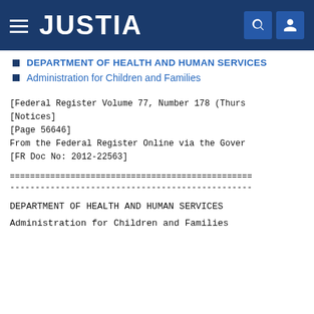JUSTIA
DEPARTMENT OF HEALTH AND HUMAN SERVICES
Administration for Children and Families
[Federal Register Volume 77, Number 178 (Thurs
[Notices]
[Page 56646]
From the Federal Register Online via the Gover
[FR Doc No: 2012-22563]
================================================
------------------------------------------------
DEPARTMENT OF HEALTH AND HUMAN SERVICES
Administration for Children and Families